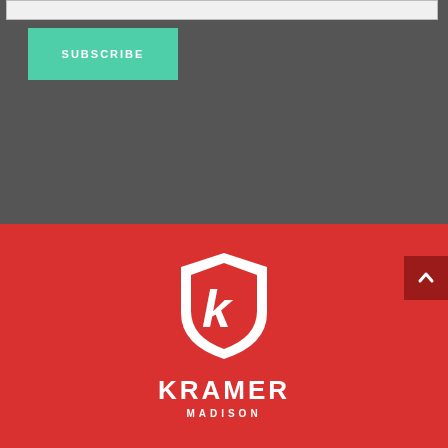[Figure (other): Input/search bar at top of dark grey section]
[Figure (other): Teal SUBSCRIBE button on dark grey background]
[Figure (logo): Kramer Madison shield logo with white K on red background, with brand name KRAMER MADISON below]
[Figure (other): Dark red scroll-to-top button with upward caret arrow on right edge]